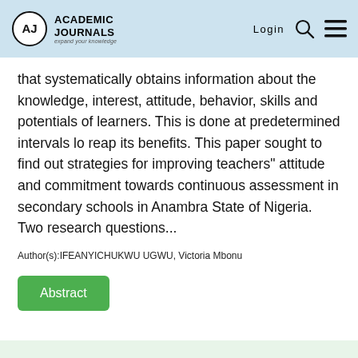Academic Journals — Login
that systematically obtains information about the knowledge, interest, attitude, behavior, skills and potentials of learners. This is done at predetermined intervals lo reap its benefits. This paper sought to find out strategies for improving teachers" attitude and commitment towards continuous assessment in secondary schools in Anambra State of Nigeria. Two research questions...
Author(s):IFEANYICHUKWU UGWU, Victoria Mbonu
Abstract